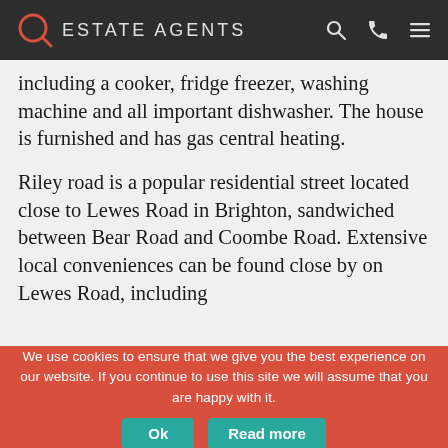Q ESTATE AGENTS
including a cooker, fridge freezer, washing machine and all important dishwasher. The house is furnished and has gas central heating.
Riley road is a popular residential street located close to Lewes Road in Brighton, sandwiched between Bear Road and Coombe Road. Extensive local conveniences can be found close by on Lewes Road, including
We use cookies to ensure that we give you the best experience on our website. If you continue to use this site we will assume that you are happy with it.